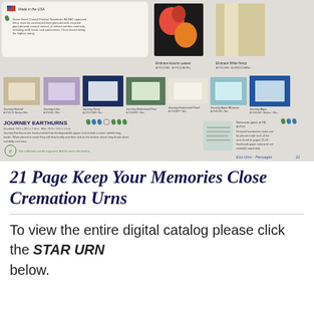[Figure (photo): Catalog page showing Journey Earthurns collection — biodegradable paper urns in various colors (natural, lilac, navy, embossed fern, embossed pearl, aqua blossom, aqua), plus Embrace Autumn Leaves and Embrace White Hemp urns, with product descriptions and notecards information. Page 21 of Eco Urns Passages catalog.]
21 Page Keep Your Memories Close Cremation Urns
To view the entire digital catalog please click the STAR URN below.